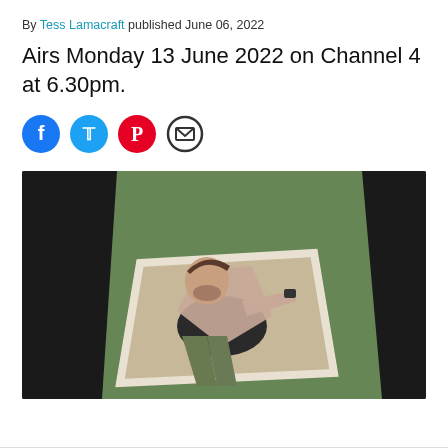By Tess Lamacraft published June 06, 2022
Airs Monday 13 June 2022 on Channel 4 at 6.30pm.
[Figure (other): Social sharing icons: Facebook (blue), Twitter (light blue), Pinterest (red), Email (black outline)]
[Figure (photo): A man lying in an open white coffin on a grass lawn, looking up and gesturing, viewed from above between two dark-clothed figures on either side]